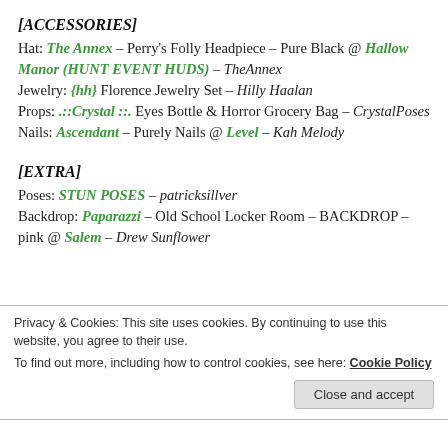[ACCESSORIES]
Hat: The Annex – Perry's Folly Headpiece – Pure Black @ Hallow Manor (HUNT EVENT HUDS) – TheAnnex
Jewelry: {hh} Florence Jewelry Set – Hilly Haalan
Props: .::Crystal ::. Eyes Bottle & Horror Grocery Bag – CrystalPoses
Nails: Ascendant – Purely Nails @ Level – Kah Melody
[EXTRA]
Poses: STUN POSES – patricksillver
Backdrop: Paparazzi – Old School Locker Room – BACKDROP – pink @ Salem – Drew Sunflower
Privacy & Cookies: This site uses cookies. By continuing to use this website, you agree to their use. To find out more, including how to control cookies, see here: Cookie Policy
Close and accept